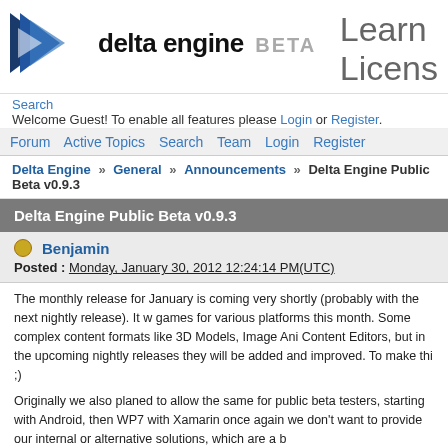[Figure (logo): Delta Engine BETA logo with dark blue arrow/chevron icon and bold text]
Learn
Licens
Search
Welcome Guest! To enable all features please Login or Register.
Forum  Active Topics  Search  Team  Login  Register
Delta Engine » General » Announcements » Delta Engine Public Beta v0.9.3
Delta Engine Public Beta v0.9.3
Benjamin
Posted : Monday, January 30, 2012 12:24:14 PM(UTC)
The monthly release for January is coming very shortly (probably with the next nightly release). It w games for various platforms this month. Some complex content formats like 3D Models, Image Ani Content Editors, but in the upcoming nightly releases they will be added and improved. To make thi ;)
Originally we also planed to allow the same for public beta testers, starting with Android, then WP7 with Xamarin once again we don't want to provide our internal or alternative solutions, which are a b
For this reason v0.9.3 will focus on WP7 and Windows support first (because we don't need any othe the contest ^^) and have a Xamarin license (which is currently required until we have a better deal w of February because we are currently focusing everything on Android and WP7 (again, iOS is possibl
More details will follow on the v0.9.3 release page at http://deltaengine.net/lib/v0.9.3